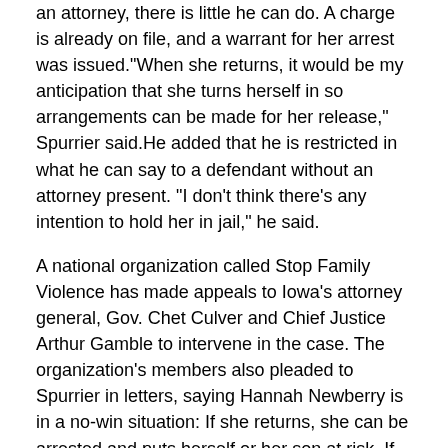an attorney, there is little he can do. A charge is already on file, and a warrant for her arrest was issued."When she returns, it would be my anticipation that she turns herself in so arrangements can be made for her release," Spurrier said.He added that he is restricted in what he can say to a defendant without an attorney present. "I don't think there's any intention to hold her in jail," he said.
A national organization called Stop Family Violence has made appeals to Iowa's attorney general, Gov. Chet Culver and Chief Justice Arthur Gamble to intervene in the case. The organization's members also pleaded to Spurrier in letters, saying Hannah Newberry is in a no-win situation: If she returns, she can be arrested and puts herself or her son at risk. If she is jailed, Timothy Newberry can petition the court to regain custody of their son. Timothy Newberry “has a long, documented history of severe domestic and child abuse spanning 30 years and two additional wives," the group wrote Culver on Sept. 4.
Miller and Culver did not respond; Gamble wrote back saying he could not intervene under state law, the organization said. Stop Family Violence said all three of Timothy Newberry's previous wives obtained